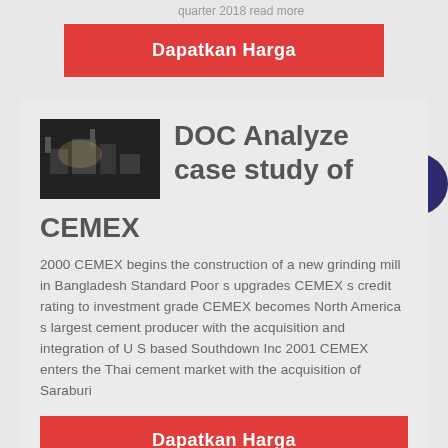quarter 2018 read more
[Figure (other): Red button labeled 'Dapatkan Harga']
[Figure (other): Live Chat speech bubble icon in teal and dark blue]
[Figure (photo): Dark industrial photo, possibly construction or factory scene]
DOC Analyze case study of CEMEX
2000 CEMEX begins the construction of a new grinding mill in Bangladesh Standard Poor s upgrades CEMEX s credit rating to investment grade CEMEX becomes North America s largest cement producer with the acquisition and integration of U S based Southdown Inc 2001 CEMEX enters the Thai cement market with the acquisition of Saraburi
[Figure (other): Red button labeled 'Dapatkan Harga']